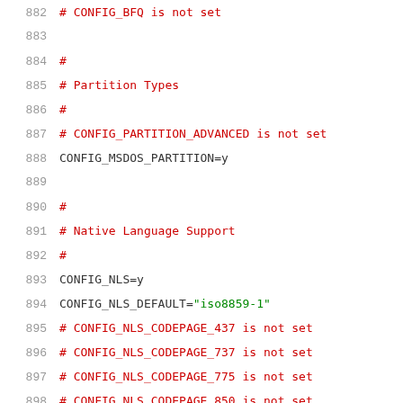882  # CONFIG_BFQ is not set
883
884  #
885  # Partition Types
886  #
887  # CONFIG_PARTITION_ADVANCED is not set
888  CONFIG_MSDOS_PARTITION=y
889
890  #
891  # Native Language Support
892  #
893  CONFIG_NLS=y
894  CONFIG_NLS_DEFAULT="iso8859-1"
895  # CONFIG_NLS_CODEPAGE_437 is not set
896  # CONFIG_NLS_CODEPAGE_737 is not set
897  # CONFIG_NLS_CODEPAGE_775 is not set
898  # CONFIG_NLS_CODEPAGE_850 is not set
899  # CONFIG_NLS_CODEPAGE_852 is not set
900  # CONFIG_NLS_CODEPAGE_855 is not set
901  # CONFIG_NLS_CODEPAGE_857 is not set
902  # CONFIG_NLS_CODEPAGE_860 is not set
903  # CONFIG_NLS_CODEPAGE_861 is not set